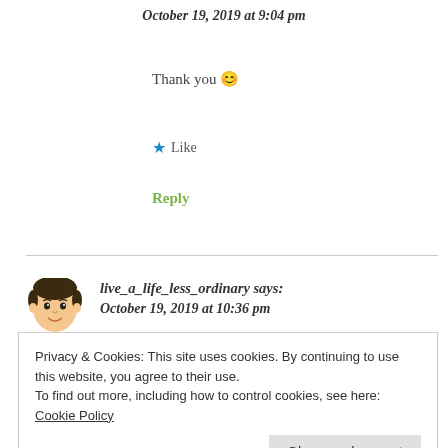October 19, 2019 at 9:04 pm
Thank you 😊
★ Like
Reply
live_a_life_less_ordinary says: October 19, 2019 at 10:36 pm
Privacy & Cookies: This site uses cookies. By continuing to use this website, you agree to their use. To find out more, including how to control cookies, see here: Cookie Policy
Close and accept